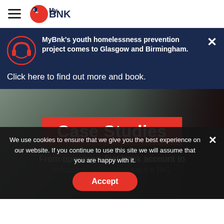MyBNK navigation bar with hamburger menu and MyBNK logo
MyBnk's youth homelessness prevention project comes to Glasgow and Birmingham.
Click here to find out more and book.
Case Studies
From opening a first bank account to
We use cookies to ensure that we give you the best experience on our website. If you continue to use this site we will assume that you are happy with it.
Accept